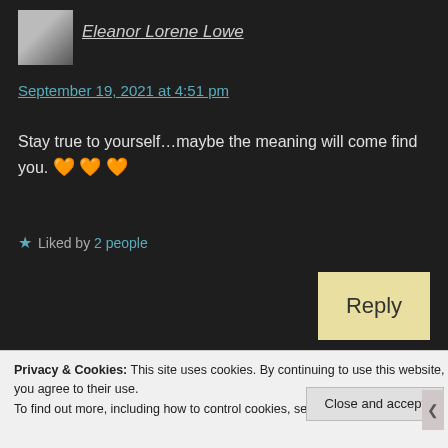Eleanor Lorene Lowe
September 19, 2021 at 4:51 pm
Stay true to yourself…maybe the meaning will come find you. 🧡🧡🧡
★ Liked by 2 people
Reply
Privacy & Cookies: This site uses cookies. By continuing to use this website, you agree to their use.
To find out more, including how to control cookies, see here: Cookie Policy
Close and accept